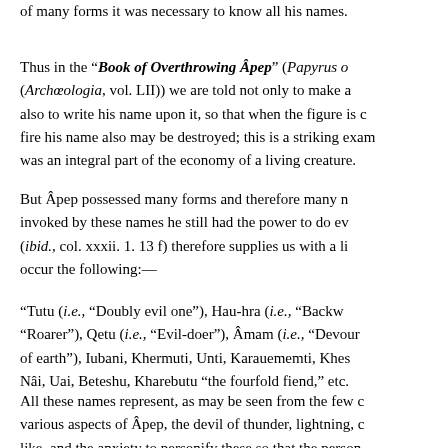of many forms it was necessary to know all his names.
Thus in the “Book of Overthrowing Âpep” (Papyrus o... (Archœologia, vol. LII)) we are told not only to make a... also to write his name upon it, so that when the figure is c... fire his name also may be destroyed; this is a striking exam... was an integral part of the economy of a living creature.
But Âpep possessed many forms and therefore many n... invoked by these names he still had the power to do ev... (ibid., col. xxxii. 1. 13 f) therefore supplies us with a li... occur the following:—
“Tutu (i.e., “Doubly evil one”), Hau-hra (i.e., “Backw“Roarer”), Qetu (i.e., “Evil-doer”), Âmam (i.e., “Devour of earth”), Iubani, Khermuti, Unti, Karauememti, Khes... Nâi, Uai, Beteshu, Kharebutu “the fourfold fiend,” etc.
All these names represent, as may be seen from the few c... various aspects of Âpep, the devil of thunder, lightning, c... like, and the anxiety to personify these so that the person...